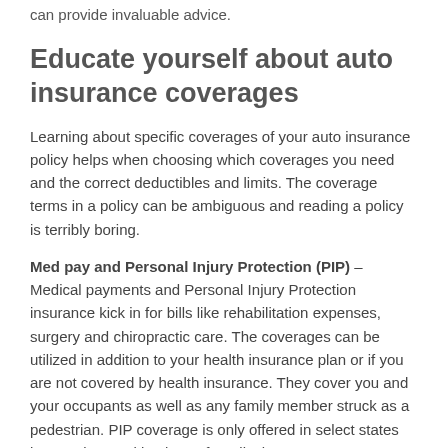can provide invaluable advice.
Educate yourself about auto insurance coverages
Learning about specific coverages of your auto insurance policy helps when choosing which coverages you need and the correct deductibles and limits. The coverage terms in a policy can be ambiguous and reading a policy is terribly boring.
Med pay and Personal Injury Protection (PIP) – Medical payments and Personal Injury Protection insurance kick in for bills like rehabilitation expenses, surgery and chiropractic care. The coverages can be utilized in addition to your health insurance plan or if you are not covered by health insurance. They cover you and your occupants as well as any family member struck as a pedestrian. PIP coverage is only offered in select states but can be used in place of medical payments coverage
Collision – Collision insurance covers damage to your LHS